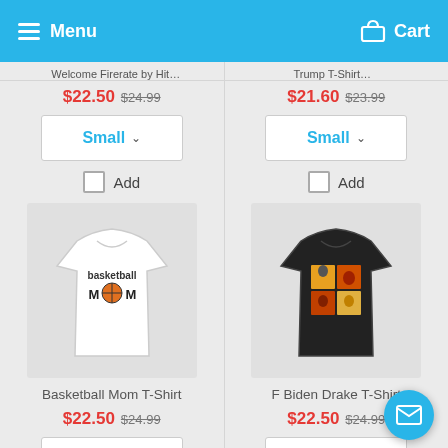Menu  Cart
$22.50  $24.99  (sale price, original price, left column top)
$21.60  $23.99  (sale price, original price, right column top)
[Figure (screenshot): Small size dropdown selector, left column]
[Figure (screenshot): Small size dropdown selector, right column]
Add (checkbox, left column)
Add (checkbox, right column)
[Figure (photo): Basketball Mom T-Shirt product image - white shirt with basketball mom graphic]
[Figure (photo): F Biden Drake T-Shirt product image - black shirt with graphic]
Basketball Mom T-Shirt
F Biden Drake T-Shirt
$22.50  $24.99
$22.50  $24.99
[Figure (screenshot): Small size dropdown selector, left column second row]
[Figure (screenshot): Small size dropdown selector, right column second row]
Add (checkbox, left column second row)
Add (checkbox, right column second row)
[Figure (photo): I Rather Be Vaccinated T-Shirt product image - white shirt with text]
[Figure (photo): Trump T-Shirt product image - white shirt with graphic]